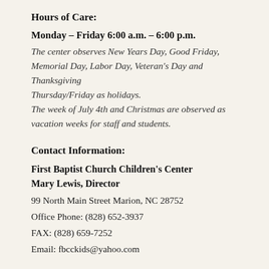Hours of Care:
Monday – Friday 6:00 a.m. – 6:00 p.m.
The center observes New Years Day, Good Friday, Memorial Day, Labor Day, Veteran's Day and Thanksgiving Thursday/Friday as holidays.
The week of July 4th and Christmas are observed as vacation weeks for staff and students.
Contact Information:
First Baptist Church Children's Center
Mary Lewis, Director
99 North Main Street Marion, NC 28752
Office Phone: (828) 652-3937
FAX: (828) 659-7252
Email: fbcckids@yahoo.com